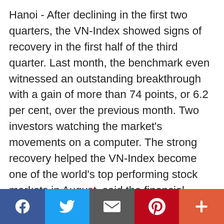Hanoi - After declining in the first two quarters, the VN-Index showed signs of recovery in the first half of the third quarter. Last month, the benchmark even witnessed an outstanding breakthrough with a gain of more than 74 points, or 6.2 per cent, over the previous month. Two investors watching the market's movements on a computer. The strong recovery helped the VN-Index become one of the world's top performing stock markets in August, said the financial website cafef.vn, citing statistics from StockQ. The index's performance surpassed most markets in the region, such as Malaysia, Singapore, Indonesia, and Thailand, with these markets' growth in a range of 0.5-4.3 per cent, but
[Figure (other): Social media sharing bar with Facebook, Twitter, Email, Pinterest, and plus (+) buttons]